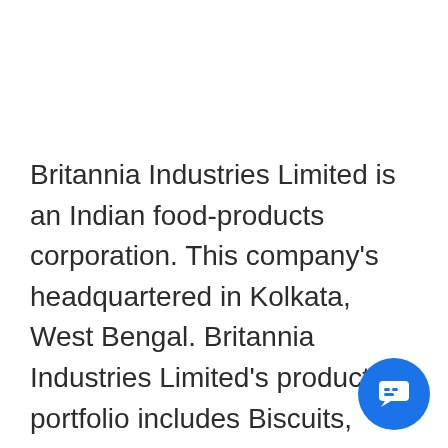Britannia Industries Limited is an Indian food-products corporation. This company's headquartered in Kolkata, West Bengal. Britannia Industries Limited's product portfolio includes Biscuits, Bread, Cakes, Rusk, and Dairy products including Cheese, Beverages, Milk, and Yoghurt. This company's brand portfolio includes Tiger, Marie Gold, Good Day, 50:50, Treat, NutriChoice and Milk Bikis. Britannia Industries Limited has a presence in more than 60 countries across the globe. This company's international footprint includes a presence in the Middle East through local manufacturing in UAE and